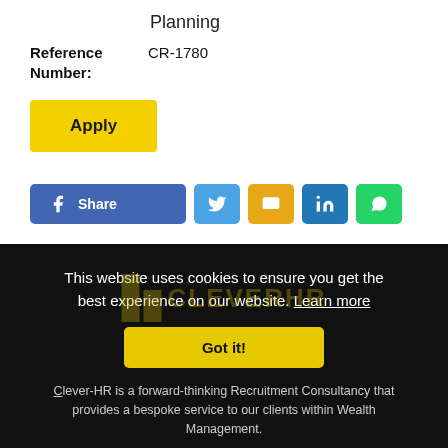Planning
Reference Number: CR-1780
Apply
Share
This website uses cookies to ensure you get the best experience on our website. Learn more
Got it!
Clever-HR is a forward-thinking Recruitment Consultancy that provides a bespoke service to our clients within Wealth Management.